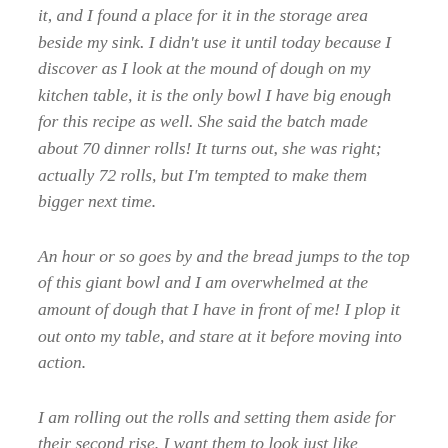it, and I found a place for it in the storage area beside my sink. I didn't use it until today because I discover as I look at the mound of dough on my kitchen table, it is the only bowl I have big enough for this recipe as well. She said the batch made about 70 dinner rolls! It turns out, she was right; actually 72 rolls, but I'm tempted to make them bigger next time.
An hour or so goes by and the bread jumps to the top of this giant bowl and I am overwhelmed at the amount of dough that I have in front of me! I plop it out onto my table, and stare at it before moving into action.
I am rolling out the rolls and setting them aside for their second rise. I want them to look just like